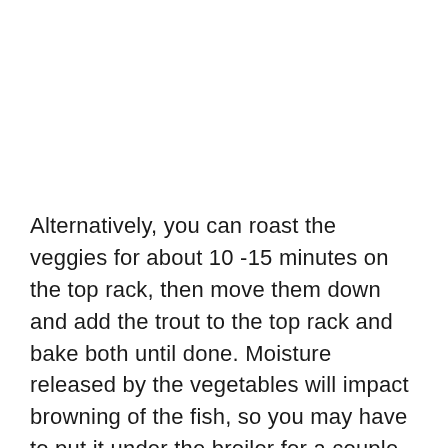Alternatively, you can roast the veggies for about 10 -15 minutes on the top rack, then move them down and add the trout to the top rack and bake both until done. Moisture released by the vegetables will impact browning of the fish, so you may have to put it under the broiler for a couple of minutes at the end. That said, I find that baking the two separately is optimal.